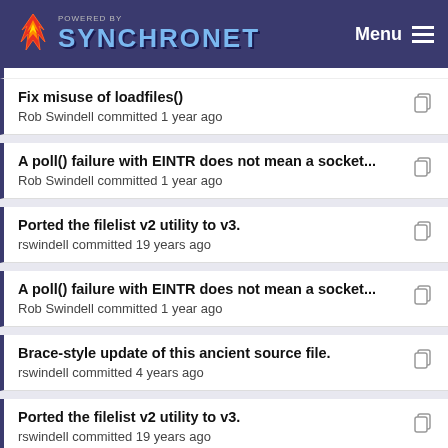POWERED BY SYNCHRONET  Menu
Fix misuse of loadfiles()
Rob Swindell committed 1 year ago
A poll() failure with EINTR does not mean a socket...
Rob Swindell committed 1 year ago
Ported the filelist v2 utility to v3.
rswindell committed 19 years ago
A poll() failure with EINTR does not mean a socket...
Rob Swindell committed 1 year ago
Brace-style update of this ancient source file.
rswindell committed 4 years ago
Ported the filelist v2 utility to v3.
rswindell committed 19 years ago